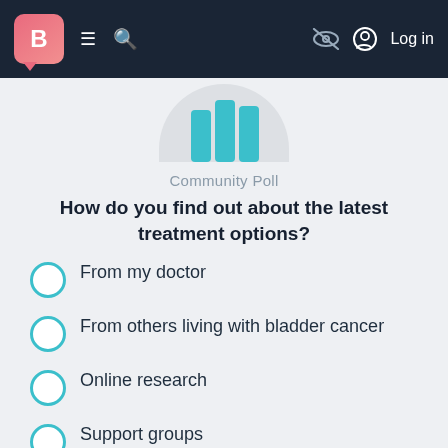B | ≡ 🔍 | Log in
[Figure (illustration): Partial avatar/profile icon shown cropped at top of poll card, teal/blue colored bars visible inside a circular frame]
Community Poll
How do you find out about the latest treatment options?
From my doctor
From others living with bladder cancer
Online research
Support groups